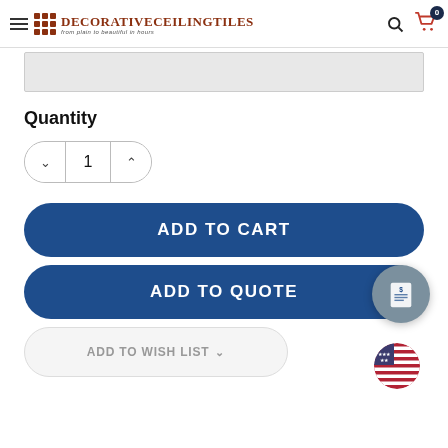DecorativeCeilingTiles - from plain to beautiful in hours
[Figure (screenshot): Gray stub area representing a product image]
Quantity
1
ADD TO CART
ADD TO QUOTE
ADD TO WISH LIST